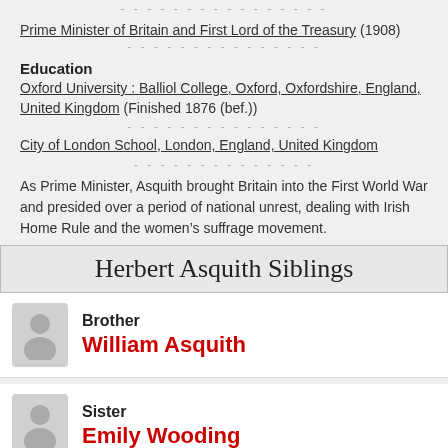Prime Minister of Britain and First Lord of the Treasury (1908)
Education
Oxford University : Balliol College, Oxford, Oxfordshire, England, United Kingdom (Finished 1876 (bef.))
City of London School, London, England, United Kingdom
As Prime Minister, Asquith brought Britain into the First World War and presided over a period of national unrest, dealing with Irish Home Rule and the women's suffrage movement.
Herbert Asquith Siblings
Brother
William Asquith
Sister
Emily Wooding